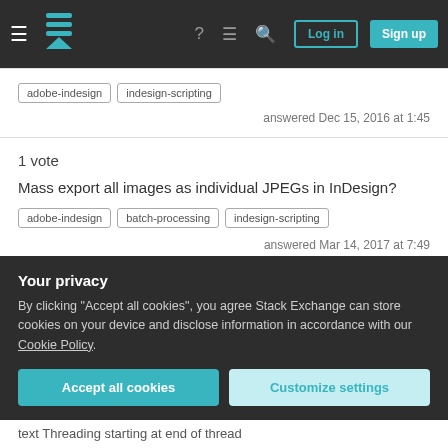Stack Exchange navigation bar with Log in and Sign up buttons
adobe-indesign  indesign-scripting
answered Dec 15, 2016 at 1:45
1 vote
Mass export all images as individual JPEGs in InDesign?
adobe-indesign  batch-processing  indesign-scripting
answered Mar 14, 2017 at 7:49
1 vote  Accepted
Script for applying character style on text after inserting it from
Your privacy
By clicking "Accept all cookies", you agree Stack Exchange can store cookies on your device and disclose information in accordance with our Cookie Policy.
Accept all cookies  Customize settings
text Threading starting at end of thread